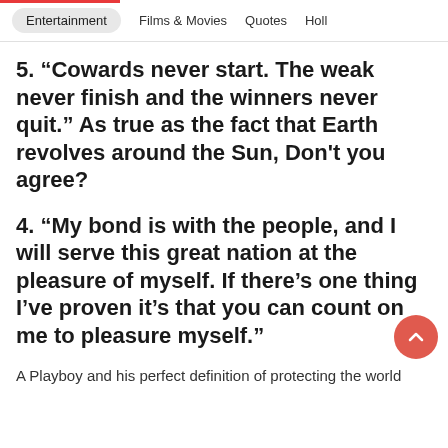Entertainment  Films & Movies  Quotes  Holl
5. “Cowards never start. The weak never finish and the winners never quit.” As true as the fact that Earth revolves around the Sun, Don't you agree?
4. “My bond is with the people, and I will serve this great nation at the pleasure of myself. If there’s one thing I’ve proven it’s that you can count on me to pleasure myself.”
A Playboy and his perfect definition of protecting the world